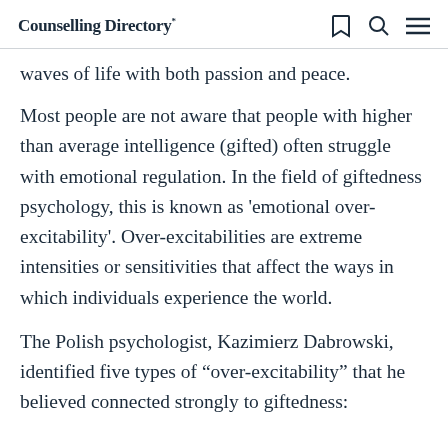Counselling Directory
waves of life with both passion and peace.
Most people are not aware that people with higher than average intelligence (gifted) often struggle with emotional regulation. In the field of giftedness psychology, this is known as ‘emotional over-excitability’. Over-excitabilities are extreme intensities or sensitivities that affect the ways in which individuals experience the world.
The Polish psychologist, Kazimierz Dabrowski, identified five types of “over-excitability” that he believed connected strongly to giftedness: